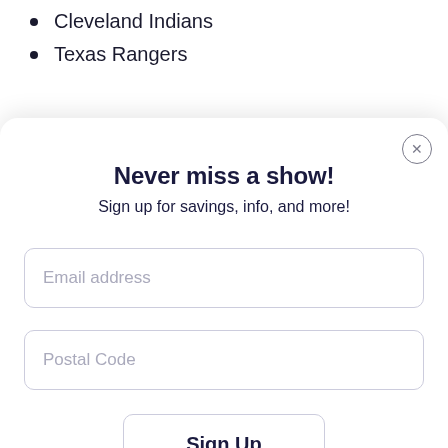Cleveland Indians
Texas Rangers
Never miss a show!
Sign up for savings, info, and more!
Email address
Postal Code
Sign Up